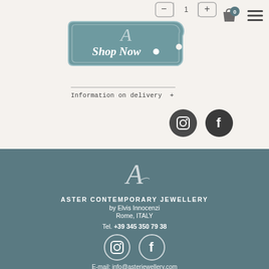[Figure (illustration): Quantity selector with minus, 1, plus buttons in rounded rectangle border]
[Figure (illustration): Shopping bag cart icon with badge showing 0, and hamburger menu icon top right]
[Figure (illustration): Shop Now button styled as a tag/label shape in teal/slate color with cursive A logo and white text 'Shop Now' and a dot]
Information on delivery   +
[Figure (illustration): Instagram and Facebook dark circle social media icons]
[Figure (logo): Cursive A logo in white on teal background]
ASTER CONTEMPORARY JEWELLERY
by Elvis Innocenzi
Rome, ITALY
Tel. +39 345 350 79 38
[Figure (illustration): Instagram and Facebook white outline circle social media icons on teal background]
E-mail: info@asterjewellery.com